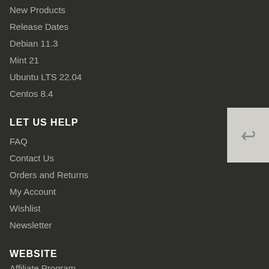New Products
Release Dates
Debian 11.3
Mint 21
Ubuntu LTS 22.04
Centos 8.4
LET US HELP
FAQ
Contact Us
Orders and Returns
My Account
Wishlist
Newsletter
WEBSITE
Affiliate Program